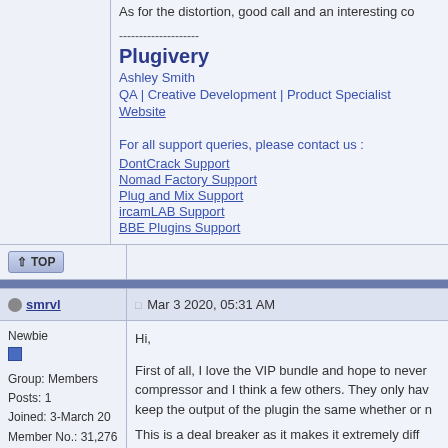As for the distortion, good call and an interesting co
--------------------
Plugivery
Ashley Smith
QA | Creative Development | Product Specialist
Website

For all support queries, please contact us :
DontCrack Support
Nomad Factory Support
Plug and Mix Support
ircamLAB Support
BBE Plugins Support
↑ TOP
smrvl   Mar 3 2020, 05:31 AM
Newbie
Group: Members
Posts: 1
Joined: 3-March 20
Member No.: 31,276
Hi,

First of all, I love the VIP bundle and hope to never compressor and I think a few others. They only hav keep the output of the plugin the same whether or n

This is a deal breaker as it makes it extremely diff